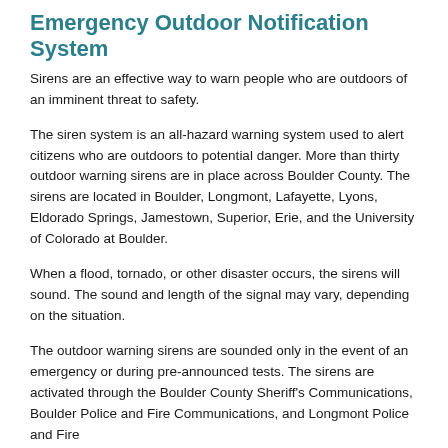Emergency Outdoor Notification System
Sirens are an effective way to warn people who are outdoors of an imminent threat to safety.
The siren system is an all-hazard warning system used to alert citizens who are outdoors to potential danger. More than thirty outdoor warning sirens are in place across Boulder County. The sirens are located in Boulder, Longmont, Lafayette, Lyons, Eldorado Springs, Jamestown, Superior, Erie, and the University of Colorado at Boulder.
When a flood, tornado, or other disaster occurs, the sirens will sound. The sound and length of the signal may vary, depending on the situation.
The outdoor warning sirens are sounded only in the event of an emergency or during pre-announced tests. The sirens are activated through the Boulder County Sheriff's Communications, Boulder Police and Fire Communications, and Longmont Police and Fire